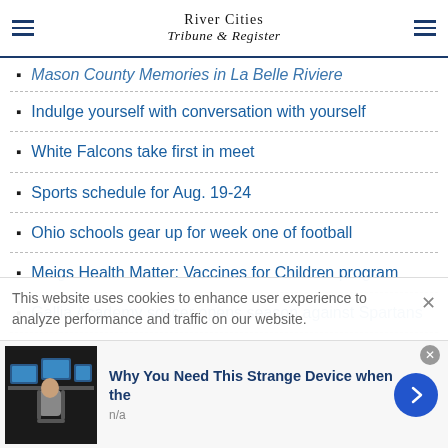River Cities Tribune & Register
Mason County Memories in La Belle Riviere
Indulge yourself with conversation with yourself
White Falcons take first in meet
Sports schedule for Aug. 19-24
Ohio schools gear up for week one of football
Meigs Health Matter: Vaccines for Children program
Gallia Academy soccer opens season against Spartans
This website uses cookies to enhance user experience to analyze performance and traffic on our website.
infolinks
Why You Need This Strange Device when the
n/a